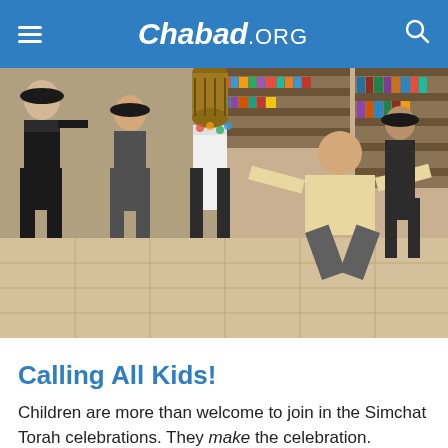Chabad.ORG
[Figure (photo): Men dancing and celebrating Simchat Torah in what appears to be a synagogue or study hall. One man in a white shirt holds a Torah scroll drum overhead while a bald man in a light shirt does a deep squat dance move. Others in black hats and suits surround them. Bookshelves visible in the background.]
Calling All Kids!
Children are more than welcome to join in the Simchat Torah celebrations. They make the celebration. Clutching flags or plush Torahs, they run between the